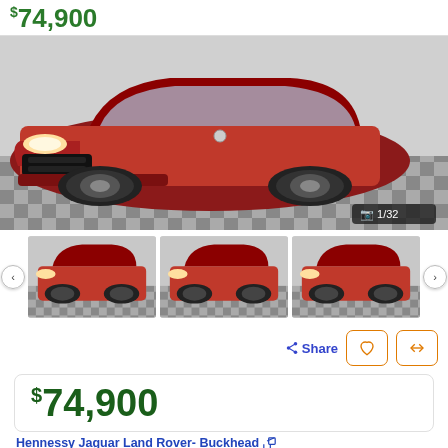$74,900
[Figure (photo): Red Range Rover Sport SUV front angle, black wheels, on checkered floor in showroom, badge shows 1/32]
[Figure (photo): Three thumbnail photos of red Range Rover Sport SUV, with prev/next navigation arrows]
Share
$74,900
Hennessy Jaguar Land Rover- Buckhead